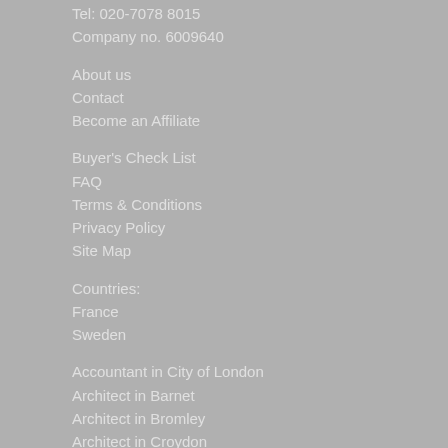Tel: 020-7078 8015
Company no. 6009640
About us
Contact
Become an Affiliate
Buyer's Check List
FAQ
Terms & Conditions
Privacy Policy
Site Map
Countries:
France
Sweden
Accountant in City of London
Architect in Barnet
Architect in Bromley
Architect in Croydon
Accountant in Westminster